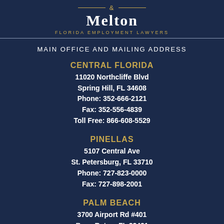& MELTON — FLORIDA EMPLOYMENT LAWYERS
MAIN OFFICE AND MAILING ADDRESS
CENTRAL FLORIDA
11020 Northcliffe Blvd
Spring Hill, FL 34608
Phone: 352-666-2121
Fax: 352-556-4839
Toll Free: 866-608-5529
PINELLAS
5107 Central Ave
St. Petersburg, FL 33710
Phone: 727-823-0000
Fax: 727-898-2001
PALM BEACH
3700 Airport Rd #401
Boca Raton, FL 33431